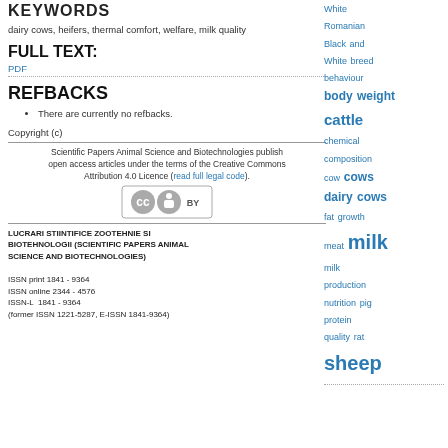KEYWORDS
dairy cows, heifers, thermal comfort, welfare, milk quality
FULL TEXT:
PDF
REFBACKS
There are currently no refbacks.
Copyright (c)
Scientific Papers Animal Science and Biotechnologies publish open access articles under the terms of the Creative Commons Attribution 4.0 Licence (read full legal code).
[Figure (logo): Creative Commons BY license badge]
LUCRARI STIINTIFICE ZOOTEHNIE SI BIOTEHNOLOGII (SCIENTIFIC PAPERS ANIMAL SCIENCE AND BIOTECHNOLOGIES)

ISSN print 1841 - 9364
ISSN online 2344 - 4576
ISSN-L 1841 - 9364
(former ISSN 1221-5287, E-ISSN 1841-9364)
White Romanian Black and White breed behaviour body weight cattle chemical composition cow cows dairy cows fat growth meat milk milk production nutrition pig protein quality rat sheep